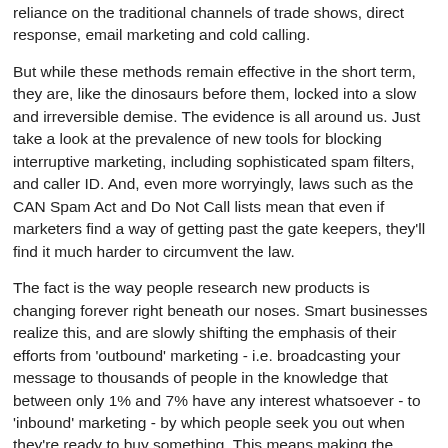reliance on the traditional channels of trade shows, direct response, email marketing and cold calling.
But while these methods remain effective in the short term, they are, like the dinosaurs before them, locked into a slow and irreversible demise. The evidence is all around us. Just take a look at the prevalence of new tools for blocking interruptive marketing, including sophisticated spam filters, and caller ID. And, even more worryingly, laws such as the CAN Spam Act and Do Not Call lists mean that even if marketers find a way of getting past the gate keepers, they'll find it much harder to circumvent the law.
The fact is the way people research new products is changing forever right beneath our noses. Smart businesses realize this, and are slowly shifting the emphasis of their efforts from 'outbound' marketing - i.e. broadcasting your message to thousands of people in the knowledge that between only 1% and 7% have any interest whatsoever - to 'inbound' marketing - by which people seek you out when they're ready to buy something. This means making the move away from conventional old-school marketing and